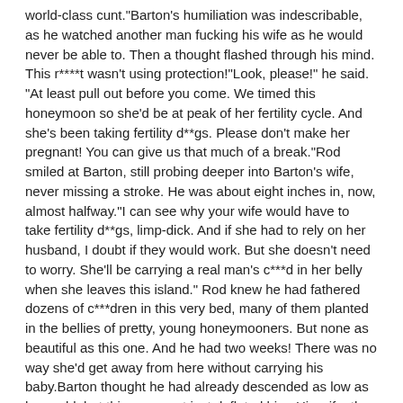world-class cunt."Barton's humiliation was indescribable, as he watched another man fucking his wife as he would never be able to. Then a thought flashed through his mind. This r****t wasn't using protection!"Look, please!" he said. "At least pull out before you come. We timed this honeymoon so she'd be at peak of her fertility cycle. And she's been taking fertility d**gs. Please don't make her pregnant! You can give us that much of a break."Rod smiled at Barton, still probing deeper into Barton's wife, never missing a stroke. He was about eight inches in, now, almost halfway."I can see why your wife would have to take fertility d**gs, limp-dick. And if she had to rely on her husband, I doubt if they would work. But she doesn't need to worry. She'll be carrying a real man's c***d in her belly when she leaves this island." Rod knew he had fathered dozens of c***dren in this very bed, many of them planted in the bellies of pretty, young honeymooners. But none as beautiful as this one. And he had two weeks! There was no way she'd get away from here without carrying his baby.Barton thought he had already descended as low as he could, but this comment just deflated him. His wife–the great John Barton's wife–would be